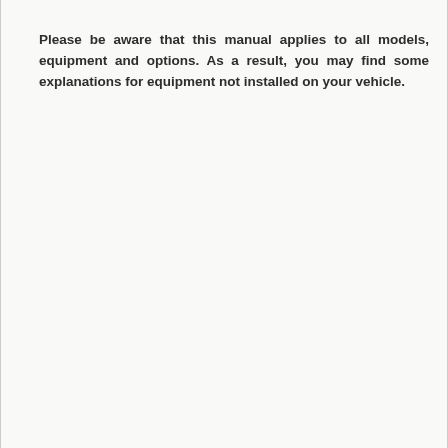Please be aware that this manual applies to all models, equipment and options. As a result, you may find some explanations for equipment not installed on your vehicle.